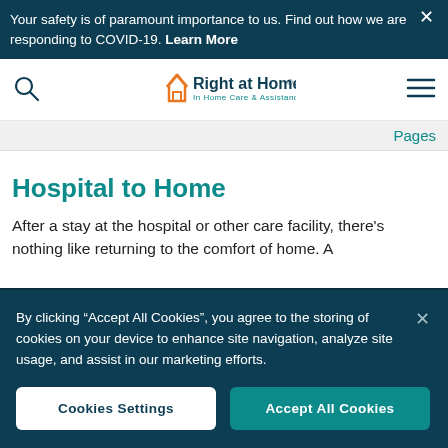Your safety is of paramount importance to us. Find out how we are responding to COVID-19. Learn More
[Figure (logo): Right at Home - In Home Care & Assistance logo with orange house icon and teal text]
Pages
Hospital to Home
After a stay at the hospital or other care facility, there’s nothing like returning to the comfort of home. A
By clicking “Accept All Cookies”, you agree to the storing of cookies on your device to enhance site navigation, analyze site usage, and assist in our marketing efforts.
Cookies Settings    Accept All Cookies